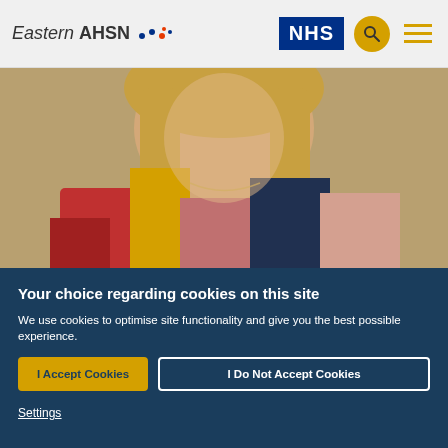Eastern AHSN | NHS
[Figure (photo): Close-up photo of a woman with blonde hair wearing a colourful jacket with red, yellow, pink and dark blue panels]
Your choice regarding cookies on this site
We use cookies to optimise site functionality and give you the best possible experience.
I Accept Cookies
I Do Not Accept Cookies
Settings